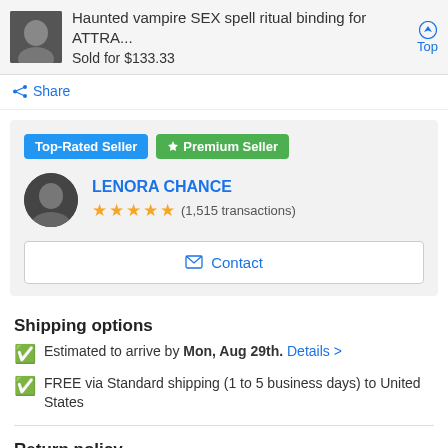Haunted vampire SEX spell ritual binding for ATTRA... Sold for $133.33
Share
Top-Rated Seller | Premium Seller
LENORA CHANCE — ★★★★★ (1,515 transactions)
Contact
Shipping options
Estimated to arrive by Mon, Aug 29th. Details >
FREE via Standard shipping (1 to 5 business days) to United States
Return policy
Full refund available within 30 days Details >